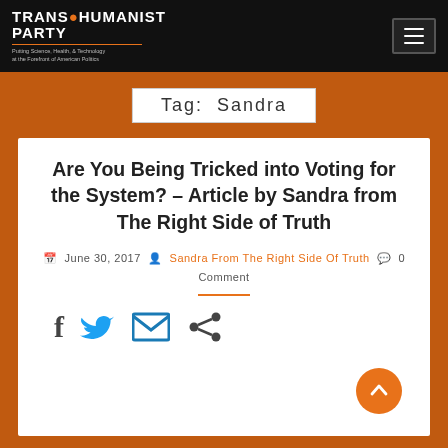TRANSHUMANIST PARTY — Putting Science, Health, & Technology at the Forefront of American Politics
Tag: Sandra
Are You Being Tricked into Voting for the System? – Article by Sandra from The Right Side of Truth
June 30, 2017  Sandra From The Right Side Of Truth  0 Comment